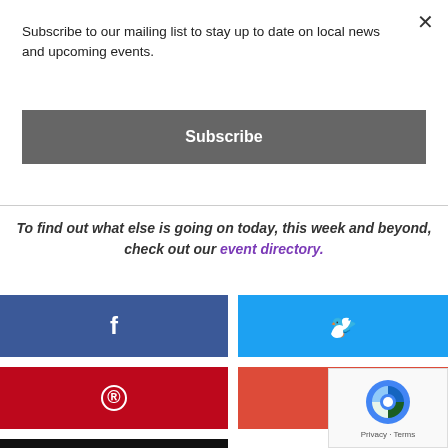×
Subscribe to our mailing list to stay up to date on local news and upcoming events.
Subscribe
To find out what else is going on today, this week and beyond, check out our event directory.
[Figure (infographic): Social sharing buttons: Facebook (blue), Twitter (light blue), Pinterest (red), Google+ (red-orange), Email (black)]
[Figure (other): reCAPTCHA badge with Privacy and Terms links]